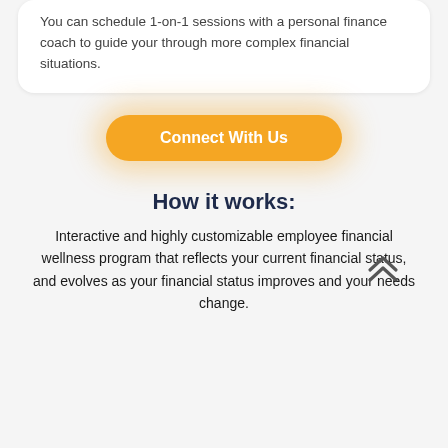You can schedule 1-on-1 sessions with a personal finance coach to guide your through more complex financial situations.
Connect With Us
How it works:
Interactive and highly customizable employee financial wellness program that reflects your current financial status, and evolves as your financial status improves and your needs change.